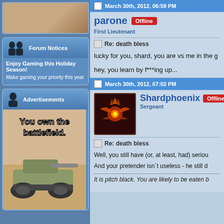[Figure (photo): Top image partial view - brownish/tan colored image cropped at top]
[Figure (infographic): Forum Notices box with two silhouette figures and text: Enjoy Gaming this Holiday Season! Make gaming your priority this year.]
[Figure (infographic): Advertisements box with tank image and text: You own the battlefield.]
March 30th, 2012, 06:59 PM
parone Offline
First Lieutenant
Re: death bless
lucky for you, shard, you are vs me in the g
hey, you learn by f***ing up...
March 30th, 2012, 07:02 PM
Shardphoenix Offline
Sergeant
Re: death bless
Well, you still have (or, at least, had) seriou
And your pretender isn`t useless - he still d
It is pitch black. You are likely to be eaten b